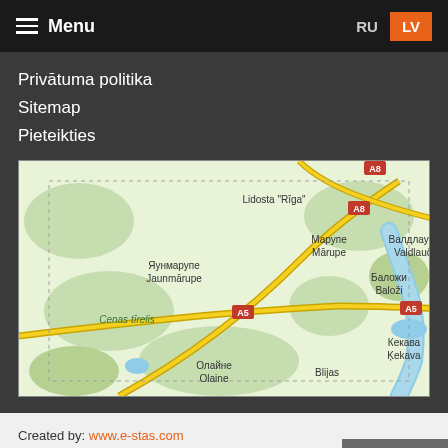Menu  RU  LV
Privātuma politika
Sitemap
Pieteikties
[Figure (map): Google Maps view showing area around Rīga, Latvia including locations: Lidosta "Rīga", Мārupe / Mārupe, Валдлаучи / Valdlauči, Яунмарупе / Jaunmārupe, Баложи / Baloži, Cenas tīrelis, A5 highway, A8 highway, Кекава / Ķekava, Олайне / Olaine, Blijas]
Created by: www.e-stas.com
© 2019 - 2022 - verovital.lv
Uz augšu